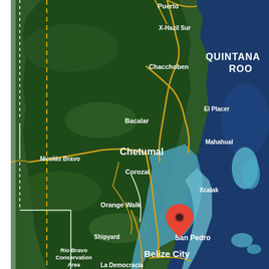[Figure (map): Satellite map showing the region of southern Quintana Roo (Mexico) and northern Belize. Visible locations include Puerto, X-Hazil Sur, Chacchoben, El Placer, Mahahual, Bacalar, Chetumal, Corozal, Nicolas Bravo, Xcalak, Orange Walk, San Pedro (marked with a red location pin), Shipyard, Rio Bravo Conservation Area, Belize City, La Democracia, Belmopan, and San Ignacio. Roads are shown in yellow/gold. The Caribbean Sea and reef systems are visible on the right. 'QUINTANA ROO' label appears in the upper right.]